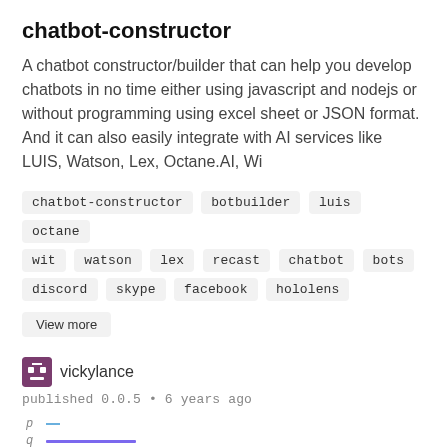chatbot-constructor
A chatbot constructor/builder that can help you develop chatbots in no time either using javascript and nodejs or without programming using excel sheet or JSON format. And it can also easily integrate with AI services like LUIS, Watson, Lex, Octane.AI, Wi
chatbot-constructor
botbuilder
luis
octane
wit
watson
lex
recast
chatbot
bots
discord
skype
facebook
hololens
View more
vickylance
published 0.0.5 • 6 years ago
smart-botto